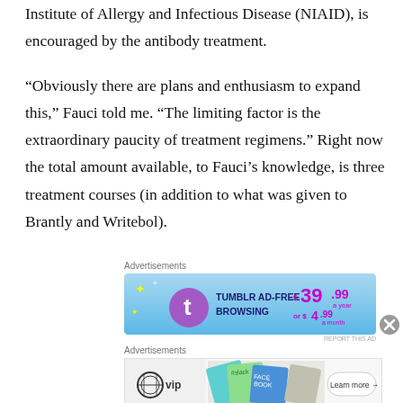Institute of Allergy and Infectious Disease (NIAID), is encouraged by the antibody treatment.
“Obviously there are plans and enthusiasm to expand this,” Fauci told me. “The limiting factor is the extraordinary paucity of treatment regimens.” Right now the total amount available, to Fauci’s knowledge, is three treatment courses (in addition to what was given to Brantly and Writebol).
[Figure (other): Tumblr AD-FREE BROWSING advertisement banner: $39.99 a year or $4.99 a month]
[Figure (other): WordPress VIP advertisement banner with Slack, Facebook logos and Learn more button]